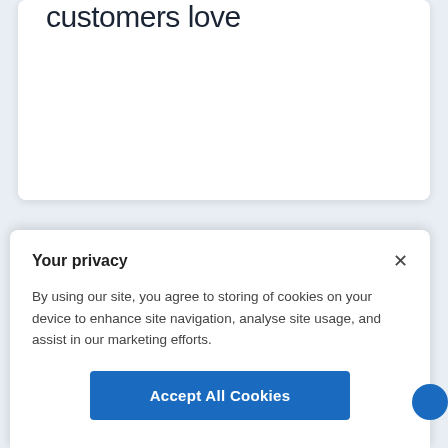customers love
Leave a Reply
— — — — — — — — — — —
Your privacy
By using our site, you agree to storing of cookies on your device to enhance site navigation, analyse site usage, and assist in our marketing efforts.
Accept All Cookies